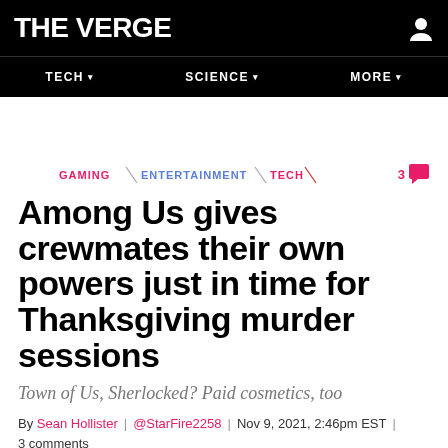THE VERGE
TECH | SCIENCE | MORE
GAMING \ ENTERTAINMENT \ TECH
Among Us gives crewmates their own powers just in time for Thanksgiving murder sessions
Town of Us, Sherlocked? Paid cosmetics, too
By Sean Hollister | @StarFire2258 | Nov 9, 2021, 2:46pm EST | 3 comments
SHARE